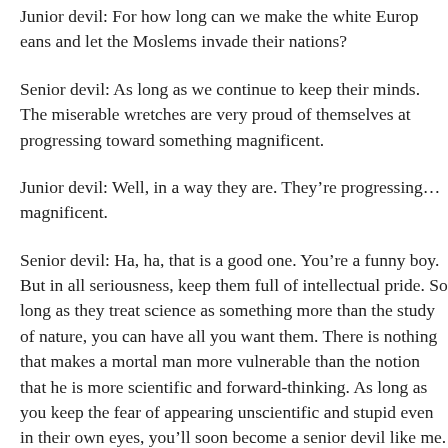Junior devil: For how long can we make the white Europeans and let the Moslems invade their nations?
Senior devil: As long as we continue to keep their minds... The miserable wretches are very proud of themselves at progressing toward something magnificent.
Junior devil: Well, in a way they are. They're progressing... magnificent.
Senior devil: Ha, ha, that is a good one. You're a funny b... seriousness, keep them full of intellectual pride. So long... science as something more than the study of nature, you... want them. There is nothing that makes a mortal man mo... than the notion that he is more scientific and forward-thi... you keep the fear of appearing unscientific and stupid ev... eyes, you'll soon become a senior devil like me.
Junior devil: I'd like that. You get to prowl about the ear...